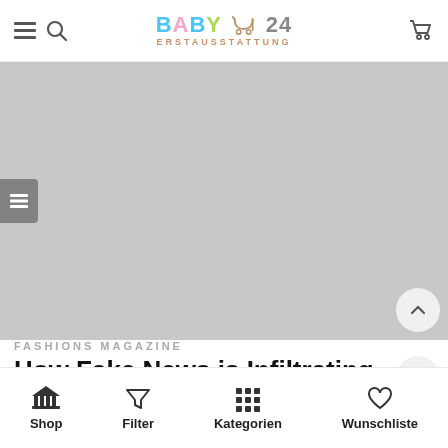BABY 24 ERSTAUSSTATTUNG — navigation bar with hamburger menu, search icon, logo, and cart icon
[Figure (photo): Large gray placeholder hero image with a slide navigation button on the left side and a scroll-to-top chevron button at bottom right]
FASHIONS MAGAZINE
How Fake News is Infiltrating Fashion
By Ti...
Shop | Filter | Kategorien | Wunschliste